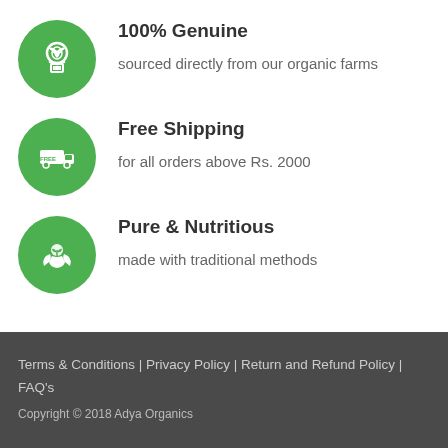100% Genuine
sourced directly from our organic farms
Free Shipping
for all orders above Rs. 2000
Pure & Nutritious
made with traditional methods
Terms & Conditions | Privacy Policy | Return and Refund Policy | FAQ's
Copyright © 2018 Adya Organics